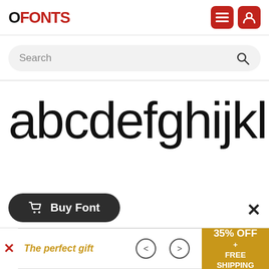FFONTS — logo header with hamburger menu and user icon
Search
[Figure (screenshot): Large font preview showing lowercase letters: abcdefghijklm in a sans-serif typeface]
Buy Font
The perfect gift
35% OFF + FREE SHIPPING